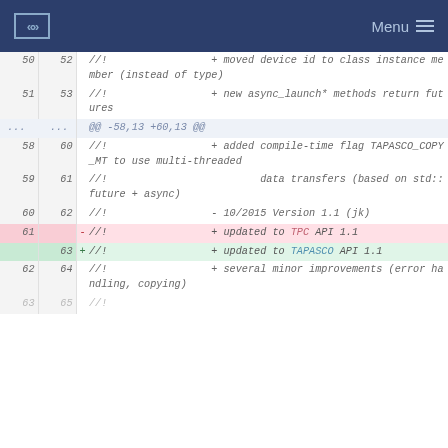ESS Menu
| old | new | marker | code |
| --- | --- | --- | --- |
| 50 | 52 |  | //!                 + moved device id to class instance member (instead of type) |
| 51 | 53 |  | //!                 + new async_launch* methods return futures |
| ... | ... |  | @@ -58,13 +60,13 @@ |
| 58 | 60 |  | //!                 + added compile-time flag TAPASCO_COPY_MT to use multi-threaded |
| 59 | 61 |  | //!                 data transfers (based on std::future + async) |
| 60 | 62 |  | //!                 - 10/2015 Version 1.1 (jk) |
| 61 |  | - | //!                 + updated to TPC API 1.1 |
|  | 63 | + | //!                 + updated to TAPASCO API 1.1 |
| 62 | 64 |  | //!                 + several minor improvements (error handling, copying) |